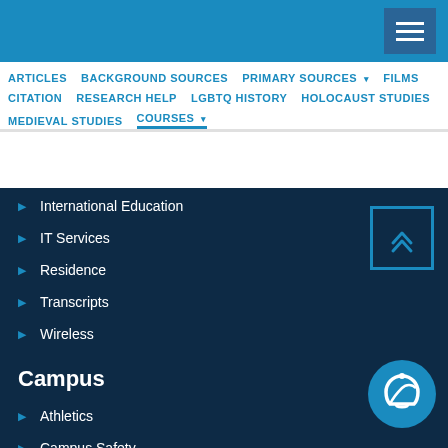Navigation menu header bar
ARTICLES
BACKGROUND SOURCES
PRIMARY SOURCES
FILMS
CITATION
RESEARCH HELP
LGBTQ HISTORY
HOLOCAUST STUDIES
MEDIEVAL STUDIES
COURSES
International Education
IT Services
Residence
Transcripts
Wireless
Campus
Athletics
Campus Safety
Campus Store
Conservatory